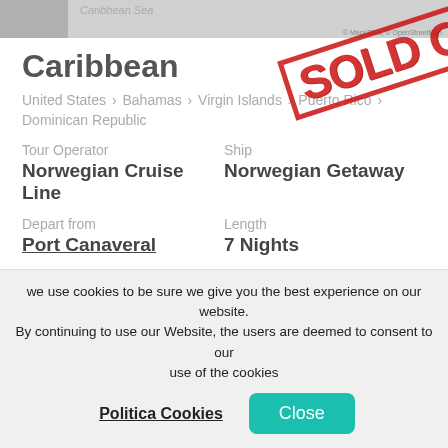[Figure (photo): Top image strip showing a map/photo with a small thumbnail on the left and map credits on the right]
[Figure (other): Red diagonal SOLD OUT stamp overlaid on the page]
Caribbean
United States > Bahamas > Virgin Islands > Puerto Rico > Dominican Republic
Tour Operator: Norwegian Cruise Line | Ship: Norwegian Getaway
Depart from: Port Canaveral | Length: 7 Nights
Departure Date: 29 July 2023 | Arrival Date: 05 August 2023
Details
we use cookies to be sure we give you the best experience on our website. By continuing to use our Website, the users are deemed to consent to our use of the cookies
Politica Cookies   Close